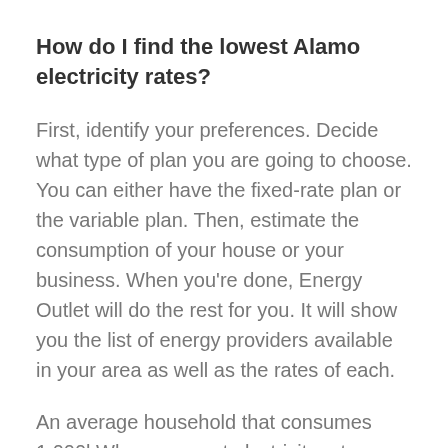How do I find the lowest Alamo electricity rates?
First, identify your preferences. Decide what type of plan you are going to choose. You can either have the fixed-rate plan or the variable plan. Then, estimate the consumption of your house or your business. When you're done, Energy Outlet will do the rest for you. It will show you the list of energy providers available in your area as well as the rates of each.
An average household that consumes 1,000kWh can expect electricity rates ranging from 5.9¢/ kWh – 19.5¢/ kWh. While the rates